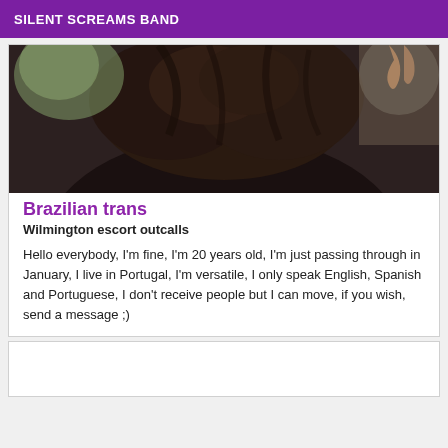SILENT SCREAMS BAND
[Figure (photo): Close-up photo of a person with dark hair, wearing dark clothing, photographed from above/behind.]
Brazilian trans
Wilmington escort outcalls
Hello everybody, I'm fine, I'm 20 years old, I'm just passing through in January, I live in Portugal, I'm versatile, I only speak English, Spanish and Portuguese, I don't receive people but I can move, if you wish, send a message ;)